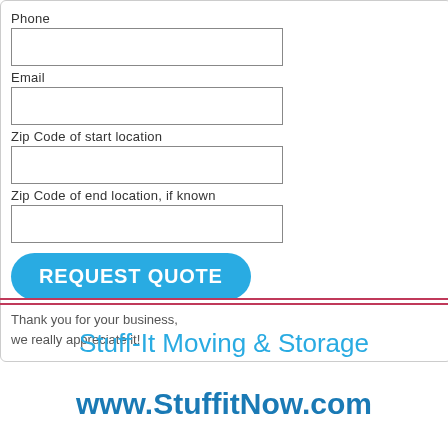Phone
Email
Zip Code of start location
Zip Code of end location, if known
REQUEST QUOTE
Thank you for your business, we really appreciate it!
Stuff-It Moving & Storage
www.StuffitNow.com